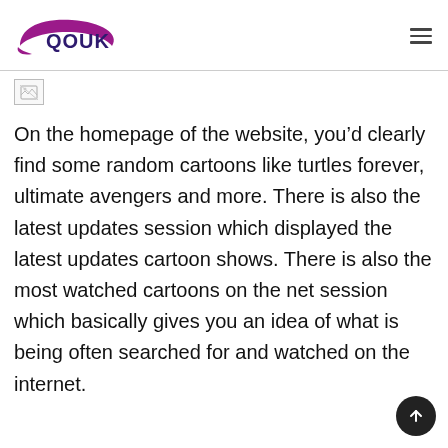QOUK
[Figure (logo): Broken image placeholder (small image icon with torn corner)]
On the homepage of the website, you’d clearly find some random cartoons like turtles forever, ultimate avengers and more. There is also the latest updates session which displayed the latest updates cartoon shows. There is also the most watched cartoons on the net session which basically gives you an idea of what is being often searched for and watched on the internet.